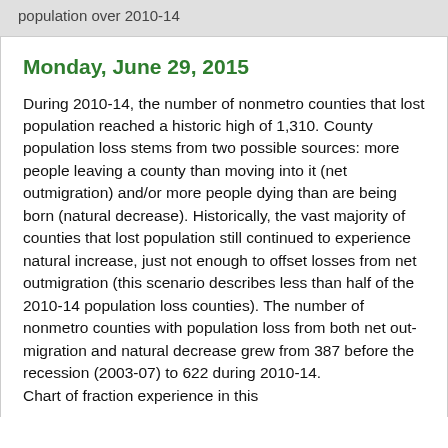population over 2010-14
Monday, June 29, 2015
During 2010-14, the number of nonmetro counties that lost population reached a historic high of 1,310. County population loss stems from two possible sources: more people leaving a county than moving into it (net outmigration) and/or more people dying than are being born (natural decrease). Historically, the vast majority of counties that lost population still continued to experience natural increase, just not enough to offset losses from net outmigration (this scenario describes less than half of the 2010-14 population loss counties). The number of nonmetro counties with population loss from both net out-migration and natural decrease grew from 387 before the recession (2003-07) to 622 during 2010-14. Chart of fraction experience in this...